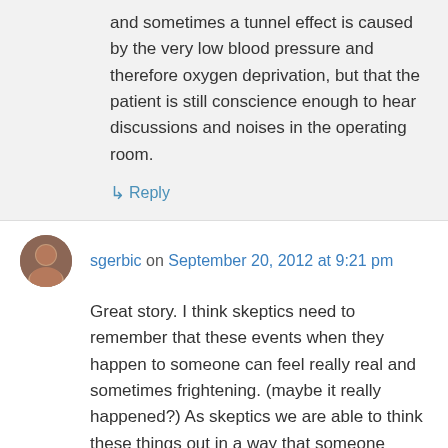and sometimes a tunnel effect is caused by the very low blood pressure and therefore oxygen deprivation, but that the patient is still conscience enough to hear discussions and noises in the operating room.
↳ Reply
sgerbic on September 20, 2012 at 9:21 pm
Great story. I think skeptics need to remember that these events when they happen to someone can feel really real and sometimes frightening. (maybe it really happened?) As skeptics we are able to think these things out in a way that someone raised to think otherwise might not.